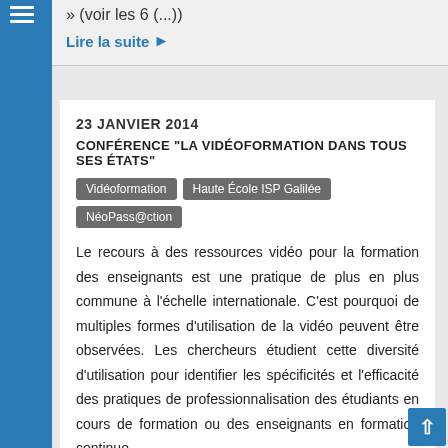» (voir les 6 (...))
Lire la suite ▶
23 JANVIER 2014
CONFÉRENCE "LA VIDÉOFORMATION DANS TOUS SES ÉTATS"
Vidéoformation
Haute École ISP Galilée
NéoPass@ction
Le recours à des ressources vidéo pour la formation des enseignants est une pratique de plus en plus commune à l'échelle internationale. C'est pourquoi de multiples formes d'utilisation de la vidéo peuvent être observées. Les chercheurs étudient cette diversité d'utilisation pour identifier les spécificités et l'efficacité des pratiques de professionnalisation des étudiants en cours de formation ou des enseignants en formation continue.